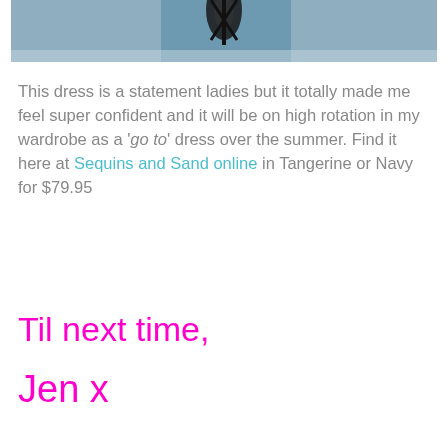[Figure (photo): Partial photo showing feet/sandals on a blue surface, cropped at the top of the page]
This dress is a statement ladies but it totally made me feel super confident and it will be on high rotation in my wardrobe as a ‘go to’ dress over the summer. Find it here at Sequins and Sand online in Tangerine or Navy for $79.95
Til next time,
Jen x
*Item gifted for my editorial consideration some links that are no longer current have been removed from this post.